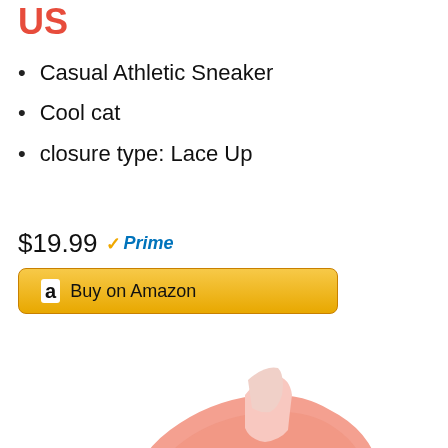US
Casual Athletic Sneaker
Cool cat
closure type: Lace Up
$19.99 Prime
[Figure (other): Buy on Amazon button with Amazon logo]
[Figure (photo): Pink casual athletic lace-up sneaker shown from above at an angle, with black buckle detail on the side]